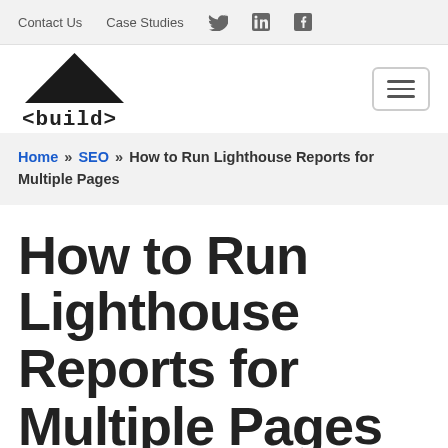Contact Us   Case Studies
[Figure (logo): Build agency logo: upward-pointing black triangle above the text '<build>' in monospace font]
Home » SEO » How to Run Lighthouse Reports for Multiple Pages
How to Run Lighthouse Reports for Multiple Pages